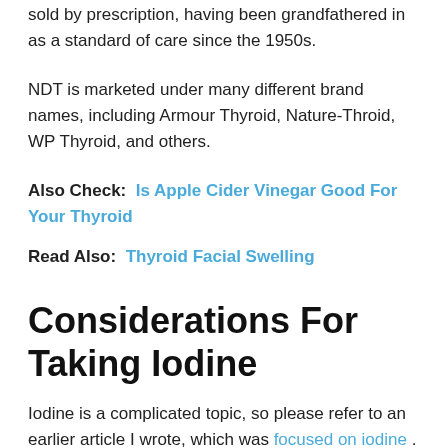sold by prescription, having been grandfathered in as a standard of care since the 1950s.
NDT is marketed under many different brand names, including Armour Thyroid, Nature-Throid, WP Thyroid, and others.
Also Check:  Is Apple Cider Vinegar Good For Your Thyroid
Read Also:  Thyroid Facial Swelling
Considerations For Taking Iodine
Iodine is a complicated topic, so please refer to an earlier article I wrote, which was focused on iodine . This article includes more research information, as well as the results of